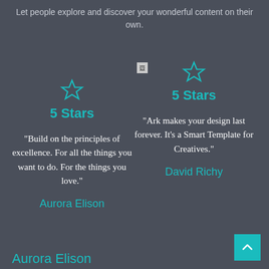Let people explore and discover your wonderful content on their own.
[Figure (infographic): Left testimonial card: star icon, '5 Stars' label, quote 'Build on the principles of excellence. For all the things you want to do. For the things you love.', author 'Aurora Elison']
[Figure (infographic): Right testimonial card: star icon, '5 Stars' label, quote 'Ark makes your design last forever. It's a Smart Template for Creatives.', author 'David Richy']